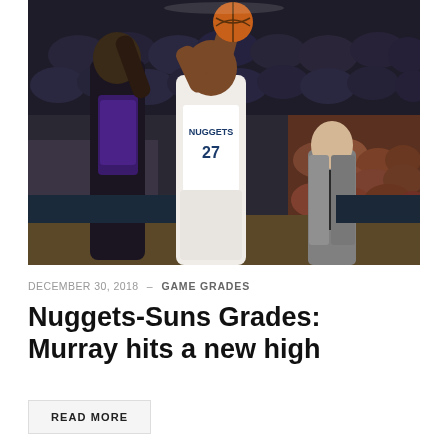[Figure (photo): NBA basketball game photo: Denver Nuggets player #27 shooting over a Phoenix Suns defender, with a coach in a suit visible in the background and a crowd of spectators filling the arena.]
DECEMBER 30, 2018 - GAME GRADES
Nuggets-Suns Grades: Murray hits a new high
READ MORE